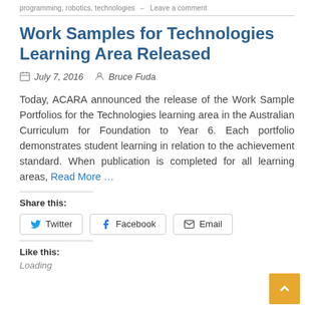programming, robotics, technologies ← Leave a comment
Work Samples for Technologies Learning Area Released
July 7, 2016   Bruce Fuda
Today, ACARA announced the release of the Work Sample Portfolios for the Technologies learning area in the Australian Curriculum for Foundation to Year 6. Each portfolio demonstrates student learning in relation to the achievement standard. When publication is completed for all learning areas, Read More …
Share this:
Twitter  Facebook  Email
Like this:
Loading